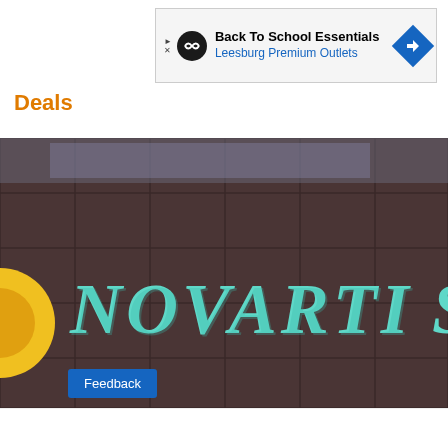[Figure (other): Advertisement banner: Back To School Essentials - Leesburg Premium Outlets with navigation arrow icon]
Deals
[Figure (photo): Photograph of a building facade with teal/cyan NOVARTIS letters mounted on a dark brown/grey tiled exterior wall. A yellow circular logo element is partially visible on the left edge.]
Feedback